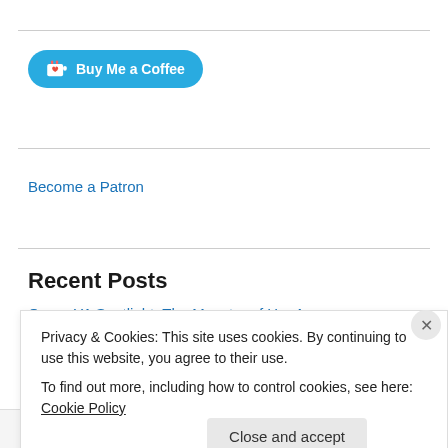[Figure (other): Buy Me a Coffee button - teal rounded pill button with coffee cup icon and white text]
Become a Patron
Recent Posts
Queer YA Spotlight: The Monster of Her Age
Short fiction | Legs
The Queer Art of Not Staying Dead
Privacy & Cookies: This site uses cookies. By continuing to use this website, you agree to their use.
To find out more, including how to control cookies, see here: Cookie Policy
Close and accept
same page is easy. And free.